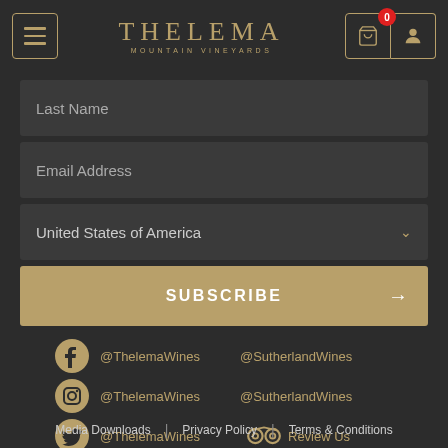THELEMA MOUNTAIN VINEYARDS
Last Name
Email Address
United States of America
SUBSCRIBE
@ThelemaWines @SutherlandWines (Facebook)
@ThelemaWines @SutherlandWines (Instagram)
@ThelemaWines (Twitter) | Review Us (TripAdvisor)
Media Downloads | Privacy Policy | Terms & Conditions